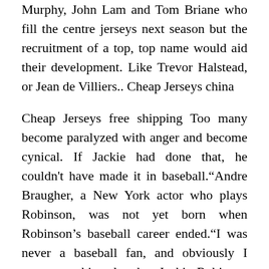Murphy, John Lam and Tom Briane who fill the centre jerseys next season but the recruitment of a top, top name would aid their development. Like Trevor Halstead, or Jean de Villiers.. Cheap Jerseys china
Cheap Jerseys free shipping Too many become paralyzed with anger and become cynical. If Jackie had done that, he couldn't have made it in baseball.“Andre Braugher, a New York actor who plays Robinson, was not yet born when Robinson’s baseball career ended.“I was never a baseball fan, and obviously I never saw him play, but Jackie Robinson is a legend, an icon,” Braugher said. “However, I wasn’t attracted to the role because of his athleticism Cheap Jerseys free shipping.